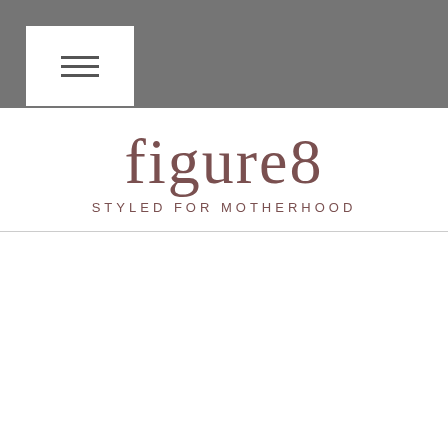[Figure (logo): Website header bar with hamburger menu icon (three horizontal lines) in a white box on a grey background]
[Figure (logo): figure8 STYLED FOR MOTHERHOOD logo — stylized serif text 'figure8' above smaller spaced caps 'STYLED FOR MOTHERHOOD', both in mauve/brown color]